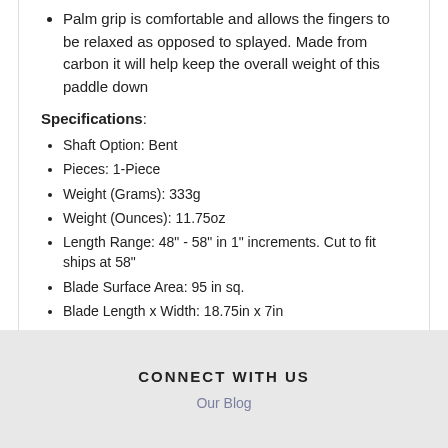Palm grip is comfortable and allows the fingers to be relaxed as opposed to splayed. Made from carbon it will help keep the overall weight of this paddle down
Specifications:
Shaft Option: Bent
Pieces: 1-Piece
Weight (Grams): 333g
Weight (Ounces): 11.75oz
Length Range: 48" - 58" in 1" increments. Cut to fit ships at 58"
Blade Surface Area: 95 in sq.
Blade Length x Width: 18.75in x 7in
CONNECT WITH US
Our Blog